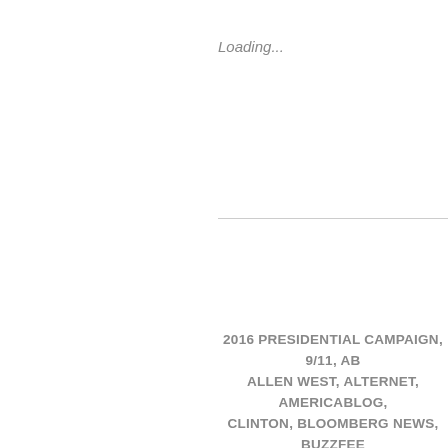Loading...
2016 PRESIDENTIAL CAMPAIGN, 9/11, ABC, ALLEN WEST, ALTERNET, AMERICABLOG, CLINTON, BLOOMBERG NEWS, BUZZFEED, CNN, COMMUNISM, CROOKS AND LIARS, EISENHOWER, EGYPT, FACEBOOK, FERGUSON, GEORGE H.W. BUSH, HARPER'S MAGAZINE, COMMITTEE, HUFFINGTON POST, IMPEACHMENT, KENNEDY, JOHN KASICH, JORDAN, J..., MARJORIE TAYLOR GREENE, MEDIA MATTERS, PENCE, MITCH MCCONNELL, MOSHE DA..., NATIONAL SECURITY AGENCY, NATURAL..., NEWSDAY, NEWSWEEK, NPR, OSAMA BIN..., GRAMM, PHILIP KLINE, POLITICO, R... CONVENTION, REPUBLICANS, REUTERS, KLEIN, SALON, SARAH PALIN, SEATTLE T..., ATLANTIC, THE CHICAGO SUN-TIMES, TH..., THE GUARDIAN, THE HILL, THE HUFFIN..., NEW REPUBLIC, THE NEW YORK TIMES, THE WASHINGTON POST, THINKPROGR..., TWITTER, TWO POLITICAL JUNKIES, U... REPRESENTATIVES, UNITED STATES SEC...